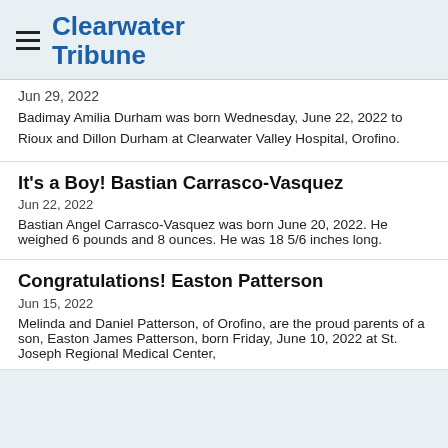Clearwater Tribune
Jun 29, 2022
Badimay Amilia Durham was born Wednesday, June 22, 2022 to Rioux and Dillon Durham at Clearwater Valley Hospital, Orofino.
It's a Boy! Bastian Carrasco-Vasquez
Jun 22, 2022
Bastian Angel Carrasco-Vasquez was born June 20, 2022. He weighed 6 pounds and 8 ounces. He was 18 5/6 inches long.
Congratulations! Easton Patterson
Jun 15, 2022
Melinda and Daniel Patterson, of Orofino, are the proud parents of a son, Easton James Patterson, born Friday, June 10, 2022 at St. Joseph Regional Medical Center,